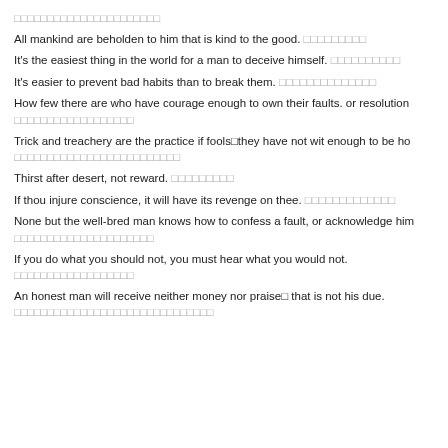[CJK characters]
All mankind are beholden to him that is kind to the good. [CJK characters]
It's the easiest thing in the world for a man to deceive himself. [CJK characters]
It's easier to prevent bad habits than to break them. [CJK characters]
How few there are who have courage enough to own their faults. or resolution... [CJK characters]
Trick and treachery are the practice if fools they have not wit enough to be ho... [CJK characters]
Thirst after desert, not reward. [CJK characters]
If thou injure conscience, it will have its revenge on thee. [CJK characters]
None but the well-bred man knows how to confess a fault, or acknowledge him... [CJK characters]
If you do what you should not, you must hear what you would not. [CJK characters]
An honest man will receive neither money nor praise that is not his due. [CJK characters]